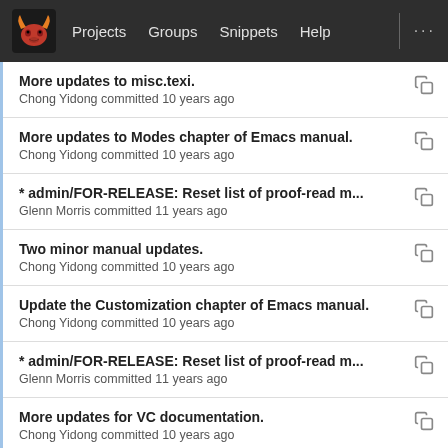Projects  Groups  Snippets  Help  ...
More updates to misc.texi.
Chong Yidong committed 10 years ago
More updates to Modes chapter of Emacs manual.
Chong Yidong committed 10 years ago
* admin/FOR-RELEASE: Reset list of proof-read m...
Glenn Morris committed 11 years ago
Two minor manual updates.
Chong Yidong committed 10 years ago
Update the Customization chapter of Emacs manual.
Chong Yidong committed 10 years ago
* admin/FOR-RELEASE: Reset list of proof-read m...
Glenn Morris committed 11 years ago
More updates for VC documentation.
Chong Yidong committed 10 years ago